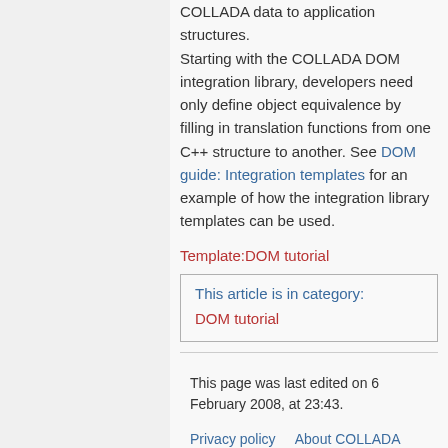COLLADA data to application structures. Starting with the COLLADA DOM integration library, developers need only define object equivalence by filling in translation functions from one C++ structure to another. See DOM guide: Integration templates for an example of how the integration library templates can be used.
Template:DOM tutorial
This article is in category:
DOM tutorial
This page was last edited on 6 February 2008, at 23:43.
Privacy policy   About COLLADA Public Wiki   Disclaimers